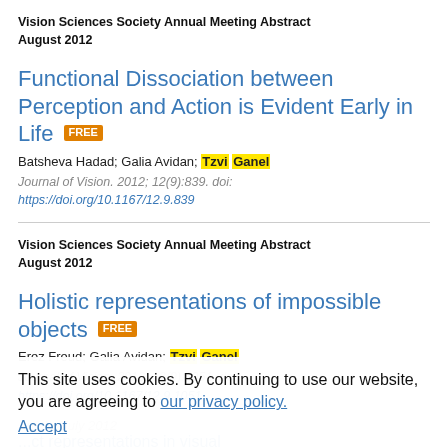Vision Sciences Society Annual Meeting Abstract August 2012
Functional Dissociation between Perception and Action is Evident Early in Life [FREE]
Batsheva Hadad; Galia Avidan; Tzvi Ganel
Journal of Vision. 2012; 12(9):839. doi: https://doi.org/10.1167/12.9.839
Vision Sciences Society Annual Meeting Abstract August 2012
Holistic representations of impossible objects [FREE]
Erez Freud; Galia Avidan; Tzvi Ganel
Journal of Vision. 2012; 12(9):1051. doi: https://doi.org/10.1167/12.9.1051
This site uses cookies. By continuing to use our website, you are agreeing to our privacy policy. Accept